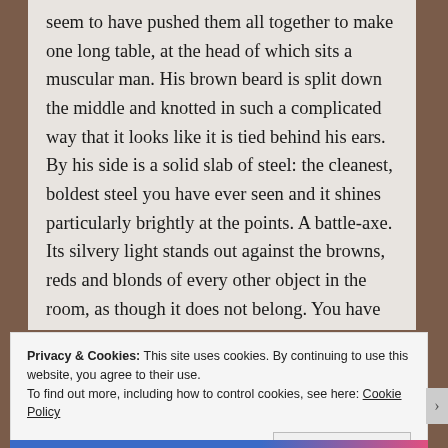seem to have pushed them all together to make one long table, at the head of which sits a muscular man. His brown beard is split down the middle and knotted in such a complicated way that it looks like it is tied behind his ears. By his side is a solid slab of steel: the cleanest, boldest steel you have ever seen and it shines particularly brightly at the points. A battle-axe. Its silvery light stands out against the browns, reds and blonds of every other object in the room, as though it does not belong. You have to wonder how heavy it is. Probably heavier than you.
Privacy & Cookies: This site uses cookies. By continuing to use this website, you agree to their use.
To find out more, including how to control cookies, see here: Cookie Policy
Close and accept